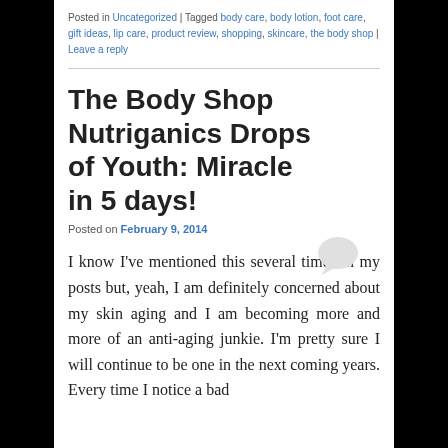Posted in Uncategorized | Tagged body care, body lotion, foot care, gift ideas, lip care, product review, shopping, skincare, the body shop | Leave a reply
The Body Shop Nutriganics Drops of Youth: Miracle in 5 days!
Posted on February 9, 2014
I know I've mentioned this several times in my posts but, yeah, I am definitely concerned about my skin aging and I am becoming more and more of an anti-aging junkie. I'm pretty sure I will continue to be one in the next coming years. Every time I notice a bad